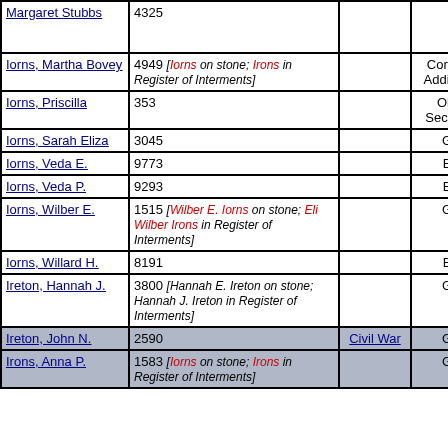| Name | Number/Notes | Flag | Section | Lot |
| --- | --- | --- | --- | --- |
| Margaret Stubbs | 4325 |  |  |  |
| Iorns, Martha Bovey | 4949 [Iorns on stone; Irons in Register of Interments] |  | Corwin Addition | 619 |
| Iorns, Priscilla | 353 |  | Old Section | 497 |
| Iorns, Sarah Eliza | 3045 |  | G | 86-1 |
| Iorns, Veda E. | 9773 |  | B | 10-1 |
| Iorns, Veda P. | 9293 |  | B | 141-9 |
| Iorns, Wilber E. | 1515 [Wilber E. Iorns on stone; Eli Wilber Irons in Register of Interments] |  | G | 27-1 |
| Iorns, Willard H. | 8191 |  | B | 141-7 |
| Ireton, Hannah J. | 3800 [Hannah E. Ireton on stone; Hannah J. Ireton in Register of Interments] |  | G | 12-8 |
| Ireton, John N. | 2590 | Civil War | G | 12-3 |
| Irons, Anna P. | 1583 [Iorns on stone; Irons in Register of Interments] |  | G | 27-3 |